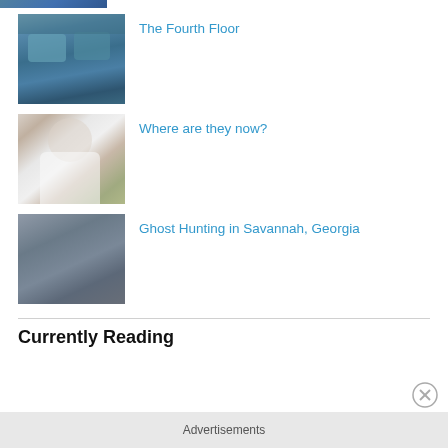[Figure (photo): Partial thumbnail of a photo at the top, cropped — appears to be an outdoor or action scene in blue tones]
The Fourth Floor
[Figure (photo): Photo of two surgeons/medical professionals in masks and surgical caps looking at camera]
Where are they now?
[Figure (photo): Photo of a nurse or woman in white scrub top standing outdoors]
Ghost Hunting in Savannah, Georgia
[Figure (photo): Blurry gray-blue photo, possibly an outdoor or atmospheric scene]
Currently Reading
Advertisements